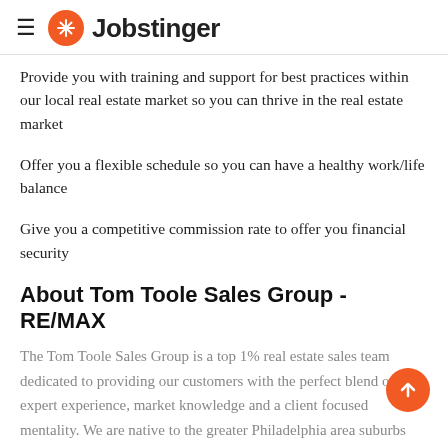≡ Jobstinger
Provide you with training and support for best practices within our local real estate market so you can thrive in the real estate market
Offer you a flexible schedule so you can have a healthy work/life balance
Give you a competitive commission rate to offer you financial security
About Tom Toole Sales Group - RE/MAX
The Tom Toole Sales Group is a top 1% real estate sales team dedicated to providing our customers with the perfect blend of expert experience, market knowledge and a client focused mentality. We are native to the greater Philadelphia area suburbs and we are the largest RE/MAX team in Philadelphia and Delaware.
Working H…